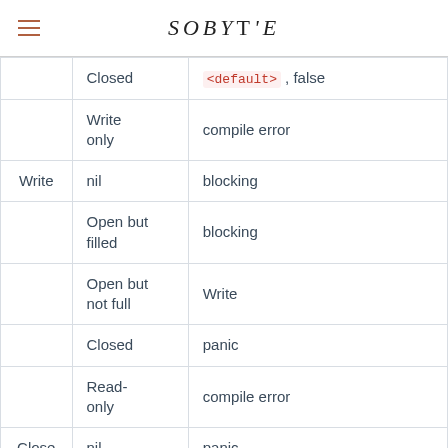SOBYTE
|  | Channel state | Result |
| --- | --- | --- |
|  | Closed | <default>, false |
|  | Write only | compile error |
| Write | nil | blocking |
|  | Open but filled | blocking |
|  | Open but not full | Write |
|  | Closed | panic |
|  | Read-only | compile error |
| Close | nil | panic |